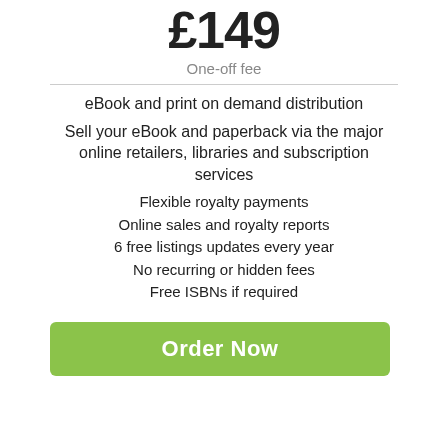£149
One-off fee
eBook and print on demand distribution
Sell your eBook and paperback via the major online retailers, libraries and subscription services
Flexible royalty payments
Online sales and royalty reports
6 free listings updates every year
No recurring or hidden fees
Free ISBNs if required
Order Now